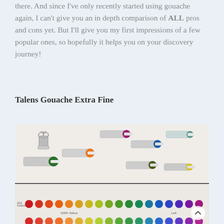there. And since I've only recently started using gouache again, I can't give you an in depth comparison of ALL pros and cons yet. But I'll give you my first impressions of a few popular ones, so hopefully it helps you on your discovery journey!
Talens Gouache Extra Fine
[Figure (photo): Multiple tubes of Talens Gouache Extra Fine paint scattered on a white surface, alongside a binder clip. Below the tubes is a color swatch chart with rows of colored circles in reds, oranges, yellows, greens, and blues, with text labels. A circular scroll-to-top button is visible in the lower right corner.]